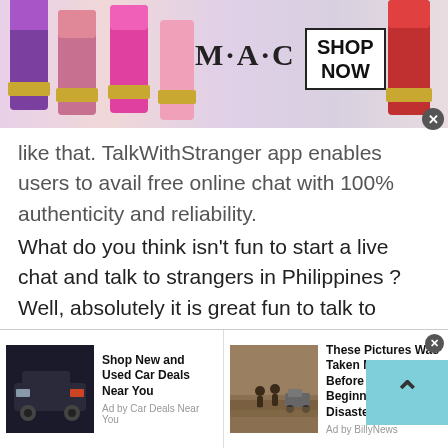[Figure (photo): MAC Cosmetics advertisement banner with colorful lipsticks on left, MAC logo text in center, and 'SHOP NOW' box on right. Close button at bottom right.]
like that. TalkWithStranger app enables users to avail free online chat with 100% authenticity and reliability.
What do you think isn't fun to start a live chat and talk to strangers in Philippines ? Well, absolutely it is great fun to talk to strangers in Philippines without going anywhere. All you need your phone, a good internet connection and of course your nickname to talk to strangers online.
[Figure (photo): Bottom advertisement bar with two ads: 'Shop New and Used Car Deals Near You' by Car Deals Near You, and 'These Pictures Was Taken Minutes Before The Beginning Of The Disaster!' by BillyNews.]